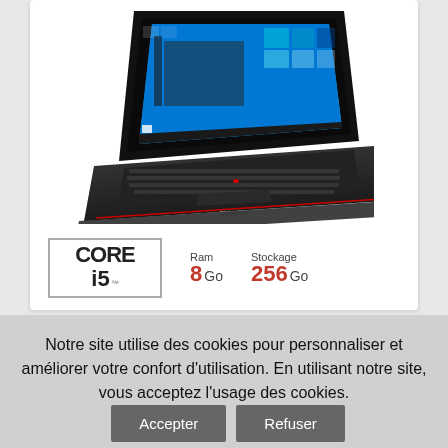[Figure (photo): Lenovo ThinkPad laptop computer shown at an angle with Windows 10 desktop visible on screen, black keyboard and body, ThinkPad logo visible on palm rest]
CORE i5  Ram 8 Go  Stockage 256 Go
Notre site utilise des cookies pour personnaliser et améliorer votre confort d'utilisation. En utilisant notre site, vous acceptez l'usage des cookies. Accepter Refuser
En savoir +